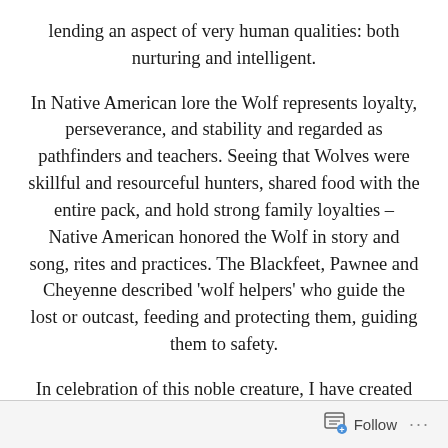lending an aspect of very human qualities: both nurturing and intelligent.
In Native American lore the Wolf represents loyalty, perseverance, and stability and regarded as pathfinders and teachers. Seeing that Wolves were skillful and resourceful hunters, shared food with the entire pack, and hold strong family loyalties – Native American honored the Wolf in story and song, rites and practices. The Blackfeet, Pawnee and Cheyenne described ‘wolf helpers’ who guide the lost or outcast, feeding and protecting them, guiding them to safety.
In celebration of this noble creature, I have created the Wolf Amulet, capturing the image without too much depth
Follow ...